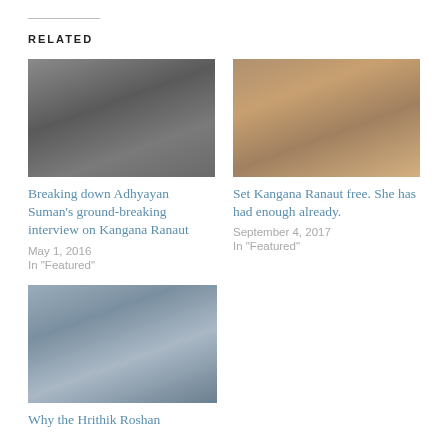RELATED
[Figure (photo): Two men at an event, one covering face with hand holding microphone]
Breaking down Adhyayan Suman's ground-breaking interview on Kangana Ranaut
May 1, 2016
In "Featured"
[Figure (photo): Woman in traditional Indian attire sitting on a couch]
Set Kangana Ranaut free. She has had enough already.
September 4, 2017
In "Featured"
[Figure (photo): Close-up portrait of a man in a blue shirt]
Why the Hrithik Roshan